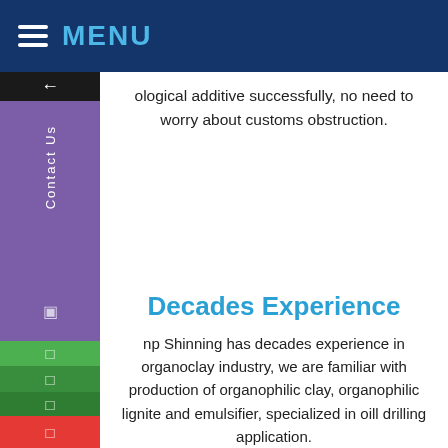MENU
ological additive successfully, no need to worry about customs obstruction.
Decades Experience
np Shinning has decades experience in organoclay industry, we are familiar with production of organophilic clay, organophilic lignite and emulsifier, specialized in oill drilling application.